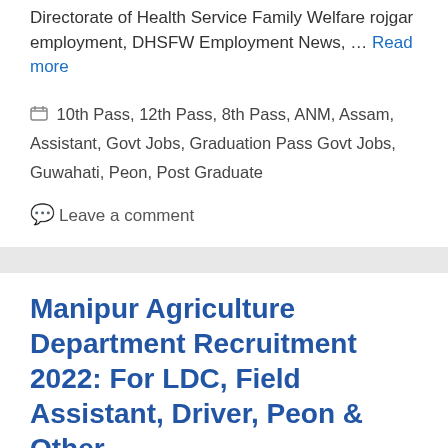Directorate of Health Service Family Welfare rojgar employment, DHSFW Employment News, … Read more
10th Pass, 12th Pass, 8th Pass, ANM, Assam, Assistant, Govt Jobs, Graduation Pass Govt Jobs, Guwahati, Peon, Post Graduate
Leave a comment
Manipur Agriculture Department Recruitment 2022: For LDC, Field Assistant, Driver, Peon & Other
29/05/2022 by Mr. Subhu